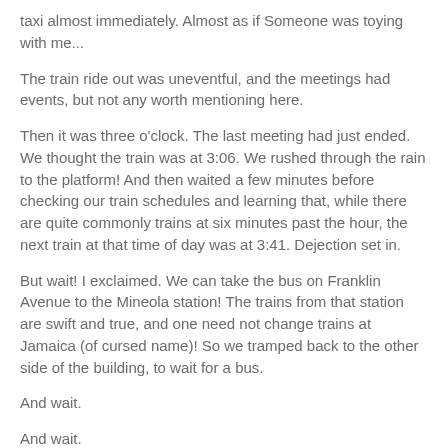taxi almost immediately. Almost as if Someone was toying with me...
The train ride out was uneventful, and the meetings had events, but not any worth mentioning here.
Then it was three o'clock. The last meeting had just ended. We thought the train was at 3:06. We rushed through the rain to the platform! And then waited a few minutes before checking our train schedules and learning that, while there are quite commonly trains at six minutes past the hour, the next train at that time of day was at 3:41. Dejection set in.
But wait! I exclaimed. We can take the bus on Franklin Avenue to the Mineola station! The trains from that station are swift and true, and one need not change trains at Jamaica (of cursed name)! So we tramped back to the other side of the building, to wait for a bus.
And wait.
And wait.